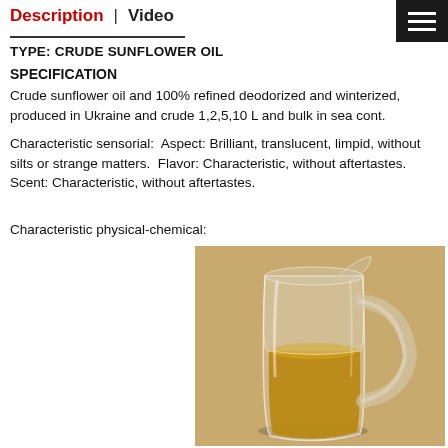Description  |  Video
TYPE: CRUDE SUNFLOWER OIL
SPECIFICATION
Crude sunflower oil and 100% refined deodorized and winterized, produced in Ukraine and crude 1,2,5,10 L and bulk in sea cont.
Characteristic sensorial:  Aspect: Brilliant, translucent, limpid, without silts or strange matters.  Flavor: Characteristic, without aftertastes.  Scent: Characteristic, without aftertastes.
Characteristic physical-chemical:
[Figure (photo): A glass pitcher/jug containing golden sunflower oil, photographed against a beige/tan background.]